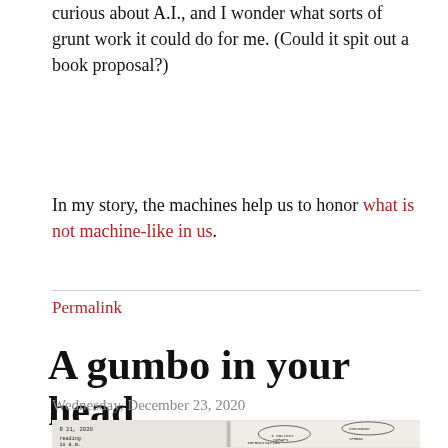curious about A.I., and I wonder what sorts of grunt work it could do for me. (Could it spit out a book proposal?)
In my story, the machines help us to honor what is not machine-like in us.
Permalink
A gumbo in your head
Wednesday, December 23, 2020
[Figure (photo): Photo of an open notebook with handwritten notes and mind-map diagrams dated R 21, 2020, containing text fragments like 'reading', 'is a.m.', 'I COLLECT SCRAPS.', 'CONTAGION', 'IMPROVISATION', 'SPREAD', 'ALLEN', 'ZERO' and other connecting words with arrows.]